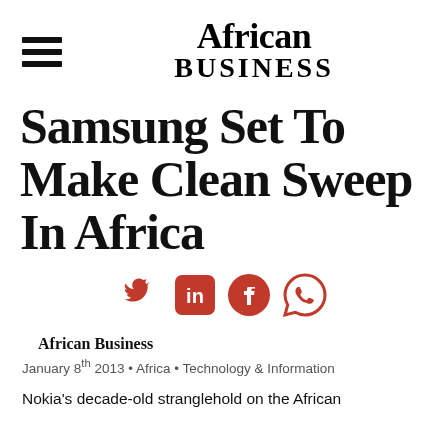African Business
Samsung Set To Make Clean Sweep In Africa
[Figure (infographic): Social sharing icons: Twitter, LinkedIn, Facebook, WhatsApp — all in red]
African Business
January 8th 2013 • Africa • Technology & Information
Nokia's decade-old stranglehold on the African